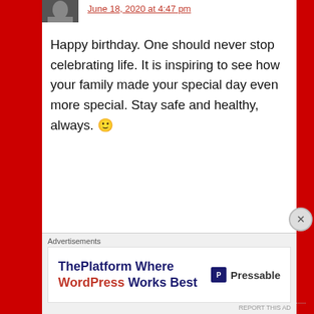June 18, 2020 at 4:47 pm
Happy birthday. One should never stop celebrating life. It is inspiring to see how your family made your special day even more special. Stay safe and healthy, always. 🙂
★ Liked by 4 people
Reply
cbholganza says:
June 18, 2020 at 4:49 pm
Advertisements
ThePlatform Where WordPress Works Best